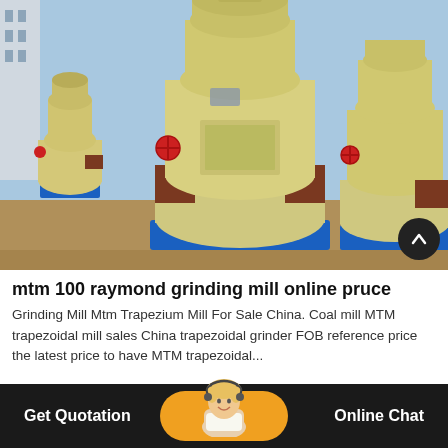[Figure (photo): Photograph of multiple MTM trapezium grinding mill machines (cream/yellow colored industrial grinders on blue bases) parked outdoors in a yard, with a building visible in the background.]
mtm 100 raymond grinding mill online pruce
Grinding Mill Mtm Trapezium Mill For Sale China. Coal mill MTM trapezoidal mill sales China trapezoidal grinder FOB reference price the latest price to have MTM trapezoidal...
Get Quotation   Online Chat